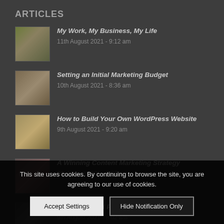ARTICLES
My Work, My Business, My Life
11th August 2021 - 9:12 am
Setting an Initial Marketing Budget
10th August 2021 - 8:36 am
How to Build Your Own WordPress Website
9th August 2021 - 9:20 am
A Winning Content Marketing Strategy
9th August 2021 - 8:07 am
Winning Brand Positioning & Architecture
9th August 2021 - 8:02 am
This site uses cookies. By continuing to browse the site, you are agreeing to our use of cookies.
Accept Settings | Hide Notification Only